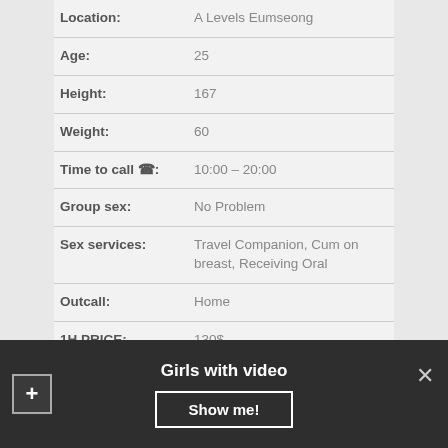| Field | Value |
| --- | --- |
| Location: | A Levels Eumseong |
| Age: | 25 |
| Height: | 167 |
| Weight: | 60 |
| Time to call ☎: | 10:00 – 20:00 |
| Group sex: | No Problem |
| Sex services: | Travel Companion, Cum on breast, Receiving Oral |
| Outcall: | Home |
| 1H PRICE: | 130$ |
| For family couples: | 370$ |
Girls with video
Show me!